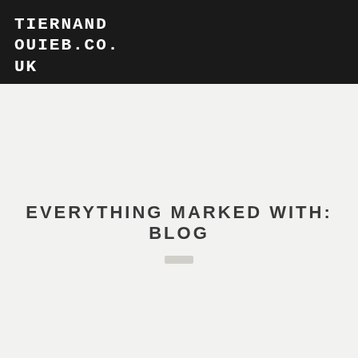TIERNANDOUIEB.CO.UK
EVERYTHING MARKED WITH: BLOG